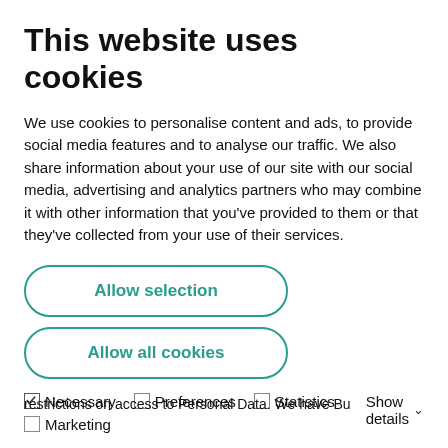This website uses cookies
We use cookies to personalise content and ads, to provide social media features and to analyse our traffic. We also share information about your use of our site with our social media, advertising and analytics partners who may combine it with other information that you've provided to them or that they've collected from your use of their services.
Allow selection
Allow all cookies
☑ Necessary  ☐ Preferences  ☐ Statistics  ☐ Marketing  Show details ∨
restrictions on access to Personal Data. We have Bu
Privacy · Terms